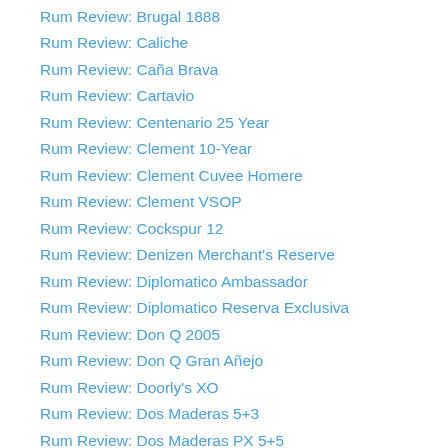Rum Review: Brugal 1888
Rum Review: Caliche
Rum Review: Caña Brava
Rum Review: Cartavio
Rum Review: Centenario 25 Year
Rum Review: Clement 10-Year
Rum Review: Clement Cuvee Homere
Rum Review: Clement VSOP
Rum Review: Cockspur 12
Rum Review: Denizen Merchant's Reserve
Rum Review: Diplomatico Ambassador
Rum Review: Diplomatico Reserva Exclusiva
Rum Review: Don Q 2005
Rum Review: Don Q Gran Añejo
Rum Review: Doorly's XO
Rum Review: Dos Maderas 5+3
Rum Review: Dos Maderas PX 5+5
Rum Review: Duncan Taylor DARSA 2007
Rum Review: El Dorado 12-Year
Rum Review: El Dorado 15